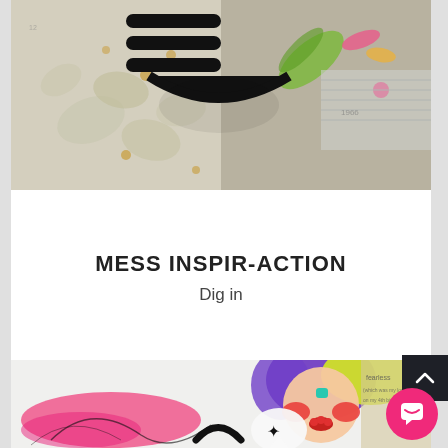[Figure (photo): Mixed media art collage with botanical illustrations, text fragments, gold dots, and decorative elements on a muted background. A bold black hamburger/stack icon is overlaid near the top center-left.]
MESS INSPIR-ACTION
Dig in
[Figure (photo): Mixed media art collage showing a colorful cartoon-style face with purple hair and red cheeks, surrounded by abstract pink paint strokes and handwritten text on a beige background. A black circle arc and speech bubble icon appear at the bottom. A pink circular chat button and dark scroll-to-top button are overlaid.]